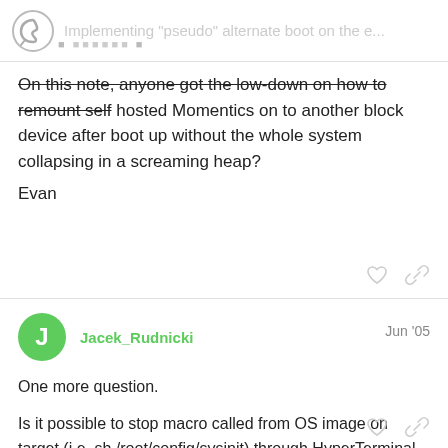Implementing "pseudo" alternate boot on the e...
On this note, anyone got the low-down on how to remount self hosted Momentics on to another block device after boot up without the whole system collapsing in a screaming heap?
Evan
Jacek_Rudnicki  Jun '05
One more question.
Is it possible to stop macro called from OS image on target (i.e. sh /root/config/sysinit) through HyperTerminal connection?
Jacek